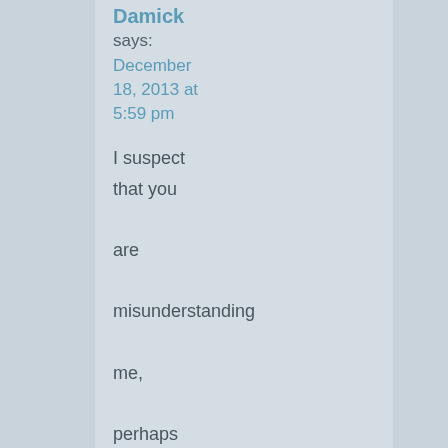Damick
says:
December 18, 2013 at 5:59 pm
I suspect that you are misunderstanding me, perhaps deliberately. The problem with your approach,